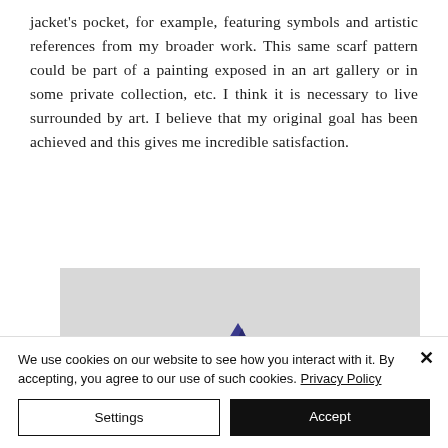jacket's pocket, for example, featuring symbols and artistic references from my broader work. This same scarf pattern could be part of a painting exposed in an art gallery or in some private collection, etc. I think it is necessary to live surrounded by art. I believe that my original goal has been achieved and this gives me incredible satisfaction.
[Figure (photo): A light gray rectangular image area with a small dark blue/purple triangular shape visible at the bottom center.]
We use cookies on our website to see how you interact with it. By accepting, you agree to our use of such cookies. Privacy Policy